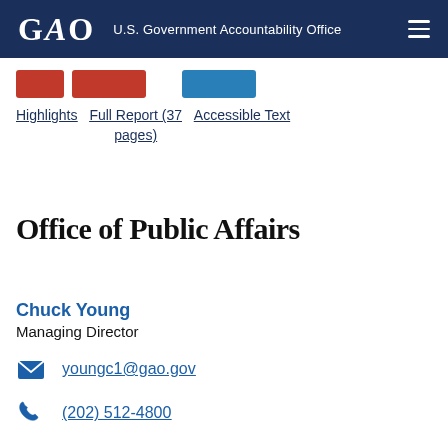GAO — U.S. Government Accountability Office
Highlights   Full Report (37 pages)   Accessible Text
Office of Public Affairs
Chuck Young
Managing Director
youngc1@gao.gov
(202) 512-4800